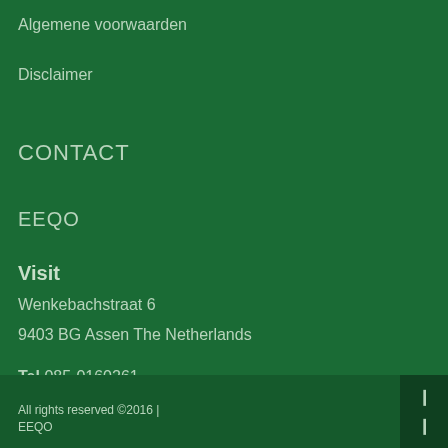Algemene voorwaarden
Disclaimer
CONTACT
EEQO
Visit
Wenkebachstraat 6
9403 BG Assen The Netherlands
Tel 085-0160261
E-mail info@eeqo.eu
All rights reserved ©2016 | EEQO